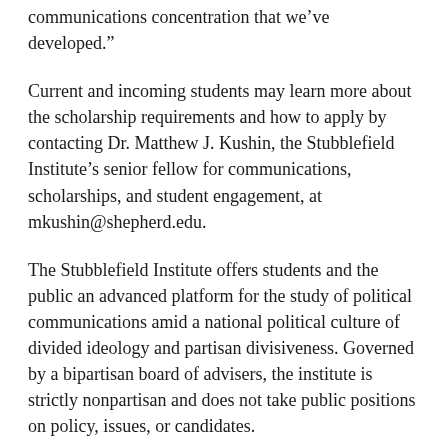communications concentration that we’ve developed.”
Current and incoming students may learn more about the scholarship requirements and how to apply by contacting Dr. Matthew J. Kushin, the Stubblefield Institute’s senior fellow for communications, scholarships, and student engagement, at mkushin@shepherd.edu.
The Stubblefield Institute offers students and the public an advanced platform for the study of political communications amid a national political culture of divided ideology and partisan divisiveness. Governed by a bipartisan board of advisers, the institute is strictly nonpartisan and does not take public positions on policy, issues, or candidates.
To learn more about creating a named fund through the Shepherd